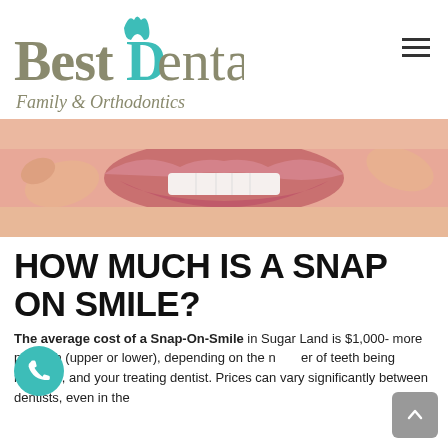[Figure (logo): Best Dental Family & Orthodontics logo with teal tooth icon above the D]
[Figure (photo): Close-up photo of a person pulling their lips apart to show teeth and smile with fingers]
HOW MUCH IS A SNAP ON SMILE?
The average cost of a Snap-On-Smile in Sugar Land is $1,000- more per arch (upper or lower), depending on the number of teeth being restored, and your treating dentist. Prices can vary significantly between dentists, even in the